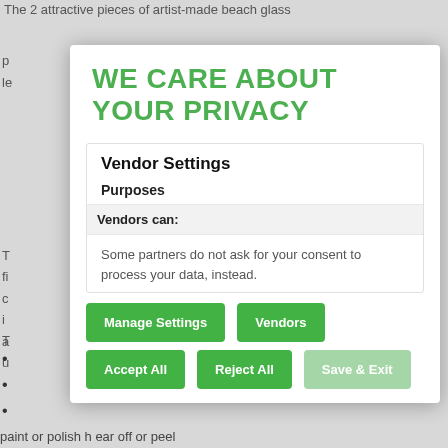The 2 attractive pieces of artist-made beach glass
p
le
T
fi
c
i
a
T
u
WE CARE ABOUT YOUR PRIVACY
Vendor Settings
Purposes
Vendors can:
Some partners do not ask for your consent to process your data, instead.
Manage Settings
Vendors
Accept All
Reject All
Save & Exit
•
•
•
paint or polish h ear off or peel